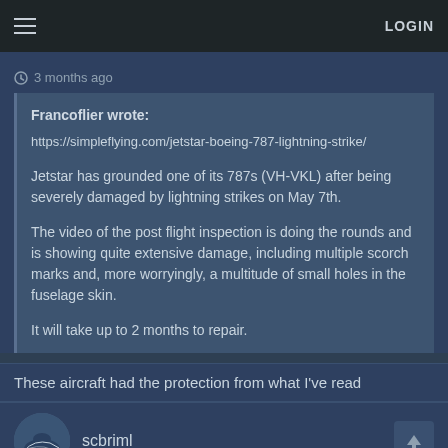LOGIN
3 months ago
Francoflier wrote:
https://simpleflying.com/jetstar-boeing-787-lightning-strike/

Jetstar has grounded one of its 787s (VH-VKL) after being severely damaged by lightning strikes on May 7th.

The video of the post flight inspection is doing the rounds and is showing quite extensive damage, including multiple scorch marks and, more worryingly, a multitude of small holes in the fuselage skin.

It will take up to 2 months to repair.
These aircraft had the protection from what I've read
scbriml
3 months ago